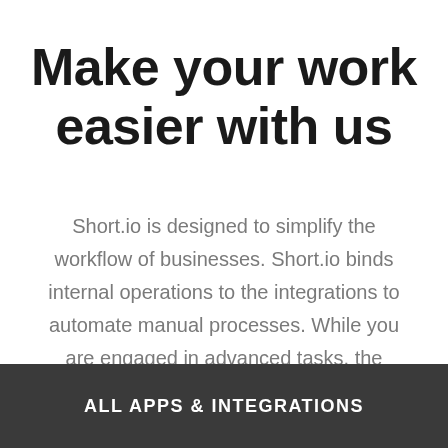Make your work easier with us
Short.io is designed to simplify the workflow of businesses. Short.io binds internal operations to the integrations to automate manual processes. While you are engaged in advanced tasks, the integrations work for you.
ALL APPS & INTEGRATIONS